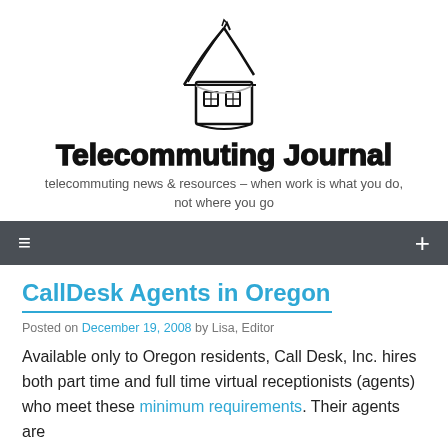[Figure (logo): Telecommuting Journal logo: hand-drawn house with roof shaped like a pencil/pen tip, with two small windows, sketched in black ink]
Telecommuting Journal
telecommuting news & resources – when work is what you do, not where you go
≡  +
CallDesk Agents in Oregon
Posted on December 19, 2008 by Lisa, Editor
Available only to Oregon residents, Call Desk, Inc. hires both part time and full time virtual receptionists (agents) who meet these minimum requirements. Their agents are